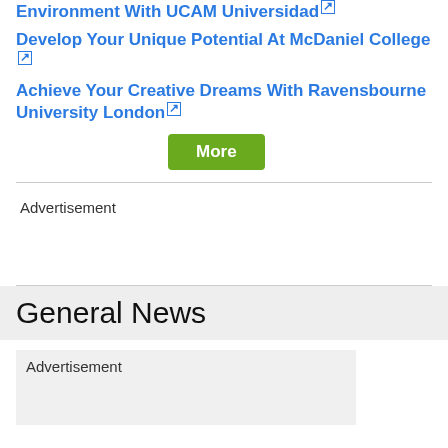Environment With UCAM Universidad ↗
Develop Your Unique Potential At McDaniel College ↗
Achieve Your Creative Dreams With Ravensbourne University London ↗
[Figure (other): Green 'More' button]
Advertisement
General News
Advertisement